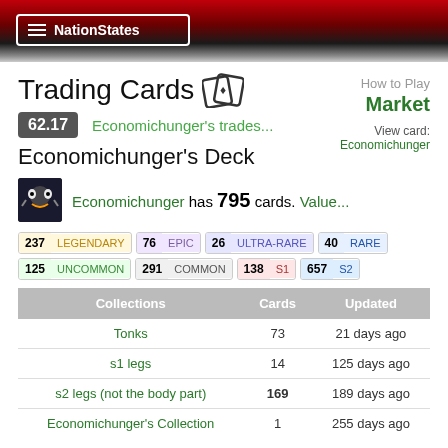NationStates
Trading Cards
62.17  Economichunger's trades...
How to Play
Market
View card: Economichunger
Economichunger's Deck
Economichunger has 795 cards. Value...
237 LEGENDARY  76 EPIC  26 ULTRA-RARE  40 RARE  125 UNCOMMON  291 COMMON  138 S1  657 S2
| Collections | Cards | Updated |
| --- | --- | --- |
| Tonks | 73 | 21 days ago |
| s1 legs | 14 | 125 days ago |
| s2 legs (not the body part) | 169 | 189 days ago |
| Economichunger's Collection | 1 | 255 days ago |